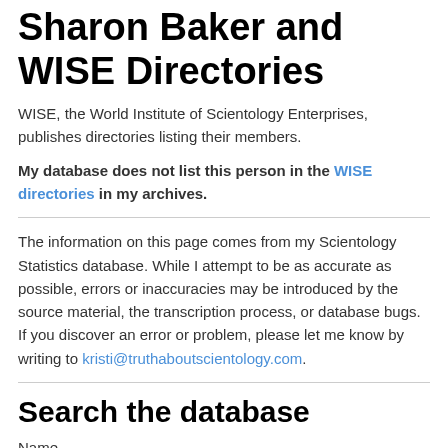Sharon Baker and WISE Directories
WISE, the World Institute of Scientology Enterprises, publishes directories listing their members.
My database does not list this person in the WISE directories in my archives.
The information on this page comes from my Scientology Statistics database. While I attempt to be as accurate as possible, errors or inaccuracies may be introduced by the source material, the transcription process, or database bugs. If you discover an error or problem, please let me know by writing to kristi@truthaboutscientology.com.
Search the database
Name